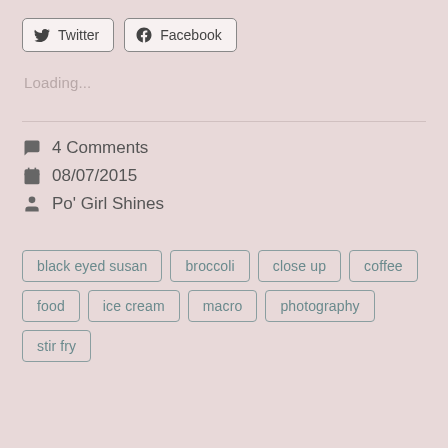Twitter  Facebook
Loading...
4 Comments
08/07/2015
Po' Girl Shines
black eyed susan
broccoli
close up
coffee
food
ice cream
macro
photography
stir fry